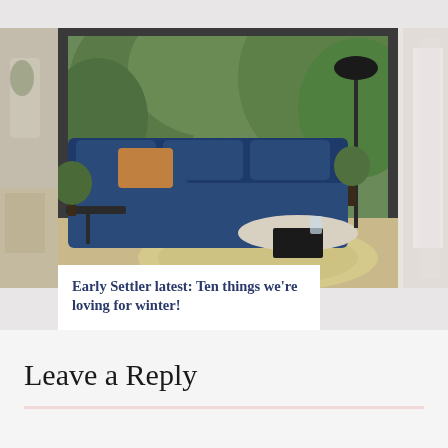[Figure (photo): Image carousel showing a living room with a blue velvet sectional sofa, orange cushion, round coffee table, and large floor-to-ceiling windows with green trees outside. Left and right navigation arrows visible. Partial slides visible on left and right edges.]
Early Settler latest: Ten things we're loving for winter!
Leave a Reply